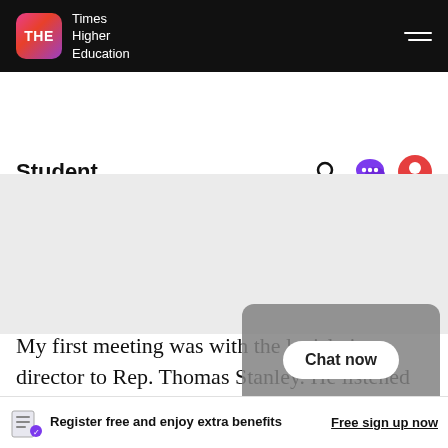Times Higher Education — THE
Student
Home | Best universities | Events/ festivals | Certifi...
My first meeting was with the legislative director to Rep. Thomas Stanley. He listened attentively and agreed to support a reform convincing the advisers and staff to the
Register free and enjoy extra benefits
Free sign up now